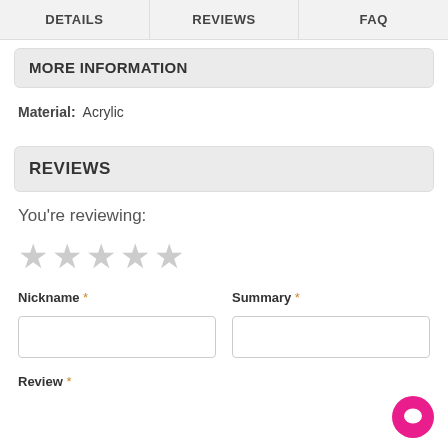DETAILS   REVIEWS   FAQ
MORE INFORMATION
Material: Acrylic
REVIEWS
You're reviewing:
★ ★ ★ ★ ★ (empty stars rating)
Nickname * Summary *
Review *